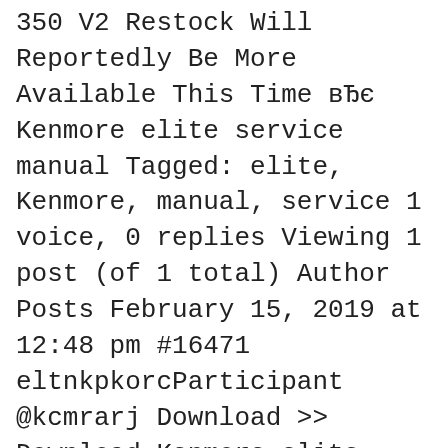350 V2 Restock Will Reportedly Be More Available This Time вЂє Kenmore elite service manual Tagged: elite, Kenmore, manual, service 1 voice, 0 replies Viewing 1 post (of 1 total) Author Posts February 15, 2019 at 12:48 pm #16471 eltnkpkorcParticipant @kcmrarj Download >> Download Kenmore elite service manual вЂ¦
Trending at $110.65 eBay determines this price through a machine learned model of the product's sale prices within the last 90 days. Save this Book to Read kenmore elite dishwasher 665 manual pdf PDF eBook at our Online Library. Get kenmore elite dishwasher 665 manual pdf PDF file for free from our online